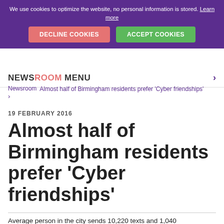We use cookies to optimize the website, no personal information is stored. Learn more
DECLINE COOKIES | ACCEPT COOKIES
NEWSROOM MENU
Newsroom > Almost half of Birmingham residents prefer 'Cyber friendships'
19 FEBRUARY 2016
Almost half of Birmingham residents prefer 'Cyber friendships'
Average person in the city sends 10,220 texts and 1,040